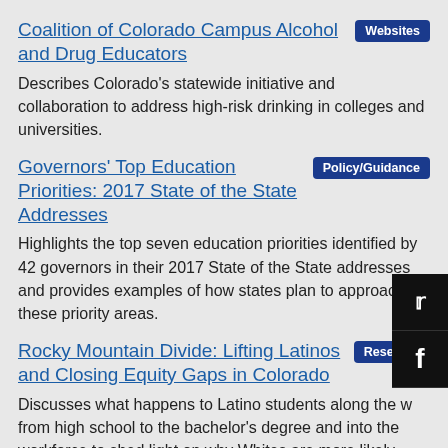Coalition of Colorado Campus Alcohol and Drug Educators
Websites
Describes Colorado's statewide initiative and collaboration to address high-risk drinking in colleges and universities.
Governors' Top Education Priorities: 2017 State of the State Addresses
Policy/Guidance
Highlights the top seven education priorities identified by 42 governors in their 2017 State of the State addresses and provides examples of how states plan to approach these priority areas.
Rocky Mountain Divide: Lifting Latinos and Closing Equity Gaps in Colorado
Research
Discusses what happens to Latino students along the way from high school to the bachelor's degree and into the workforce to shed light on why Whites are more likely than Latinos to earn a postsecondary credential. Colorado, w...